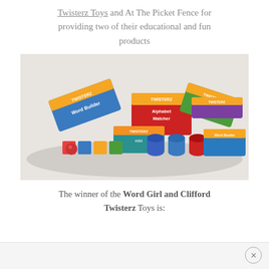Twisterz Toys and At The Picket Fence for providing two of their educational and fun products
[Figure (photo): Photo of multiple colorful Twisterz educational toy products including Word Builder, Alphabet Matcher, Story Starter, and other rolling/cube toys arranged in a display]
The winner of the Word Girl and Clifford Twisterz Toys is: